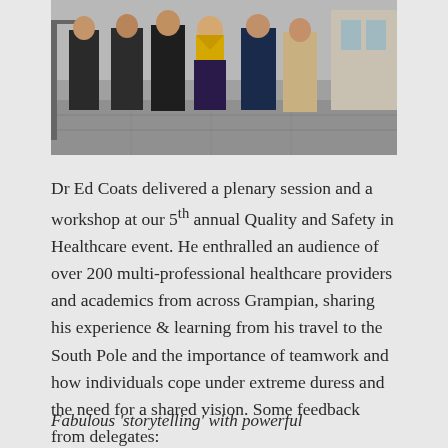[Figure (photo): Group photo of several people standing together outdoors, one woman in yellow jacket and patterned dress visible among others in dark suits]
Dr Ed Coats delivered a plenary session and a workshop at our 5th annual Quality and Safety in Healthcare event. He enthralled an audience of over 200 multi-professional healthcare providers and academics from across Grampian, sharing his experience & learning from his travel to the South Pole and the importance of teamwork and how individuals cope under extreme duress and the need for a shared vision. Some feedback from delegates:
Fabulous 'storytelling' with powerful points that can be translated to our NHS